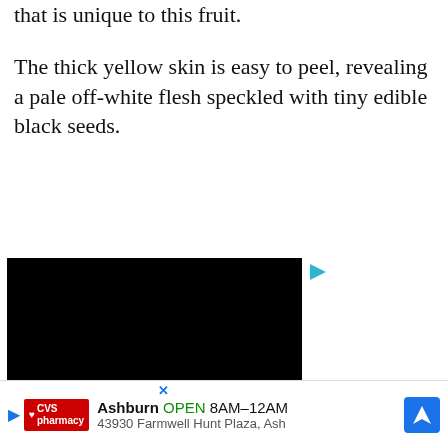that is unique to this fruit.
The thick yellow skin is easy to peel, revealing a pale off-white flesh speckled with tiny edible black seeds.
[Figure (screenshot): Embedded video player with black background and play button in upper right corner]
the peels are also
edible
Amer
Ashburn  OPEN 8AM–12AM  43930 Farmwell Hunt Plaza, Ash